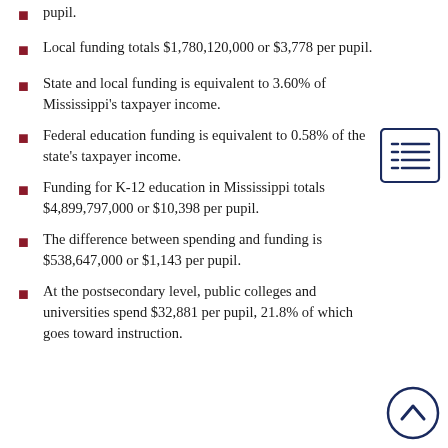pupil.
Local funding totals $1,780,120,000 or $3,778 per pupil.
State and local funding is equivalent to 3.60% of Mississippi's taxpayer income.
Federal education funding is equivalent to 0.58% of the state's taxpayer income.
Funding for K-12 education in Mississippi totals $4,899,797,000 or $10,398 per pupil.
The difference between spending and funding is $538,647,000 or $1,143 per pupil.
At the postsecondary level, public colleges and universities spend $32,881 per pupil, 21.8% of which goes toward instruction.